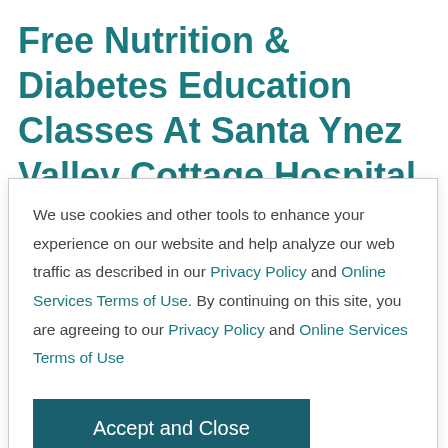Free Nutrition & Diabetes Education Classes At Santa Ynez Valley Cottage Hospital
We use cookies and other tools to enhance your experience on our website and help analyze our web traffic as described in our Privacy Policy and Online Services Terms of Use. By continuing on this site, you are agreeing to our Privacy Policy and Online Services Terms of Use